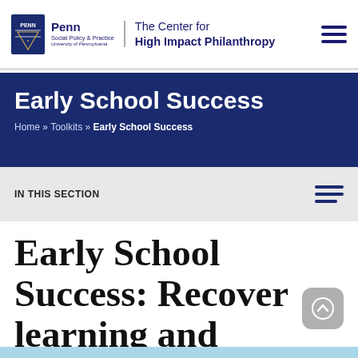Penn Social Policy & Practice University of Pennsylvania | The Center for High Impact Philanthropy
Early School Success
Home » Toolkits » Early School Success
IN THIS SECTION
Early School Success: Recover learning and accelerate gains